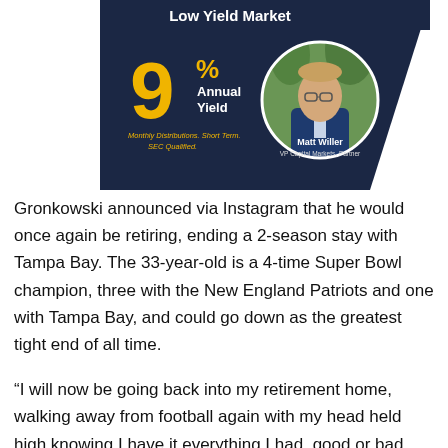[Figure (infographic): Advertisement banner with dark navy background showing '9% Annual Yield' in gold text, tagline 'Monthly Distributions. Short Term. SEC Qualified.' with a circular photo of Matt Willer, VP Capital Markets Partner, against green foliage background. Title reads 'Low Yield Market' at top.]
Gronkowski announced via Instagram that he would once again be retiring, ending a 2-season stay with Tampa Bay. The 33-year-old is a 4-time Super Bowl champion, three with the New England Patriots and one with Tampa Bay, and could go down as the greatest tight end of all time.
“I will now be going back into my retirement home, walking away from football again with my head held high knowing I have it everything I had, good or bad, every time I stepped out on the field,” Gronkowski wrote in a statement via Twitter.